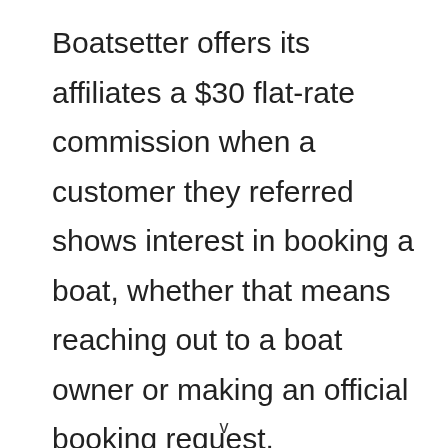Boatsetter offers its affiliates a $30 flat-rate commission when a customer they referred shows interest in booking a boat, whether that means reaching out to a boat owner or making an official booking request.
v